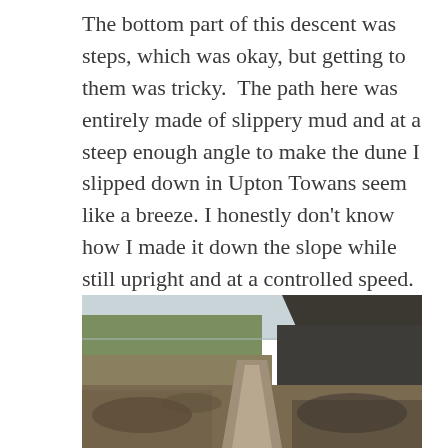The bottom part of this descent was steps, which was okay, but getting to them was tricky. The path here was entirely made of slippery mud and at a steep enough angle to make the dune I slipped down in Upton Towans seem like a breeze. I honestly don't know how I made it down the slope while still upright and at a controlled speed. The climb back up the other side was a laugh too.
[Figure (photo): Aerial or elevated view of a wide open moorland/hillside landscape with a muddy path or track running through the centre, green and brown vegetation, and a dark ridge or hillside in the background under an overcast sky.]